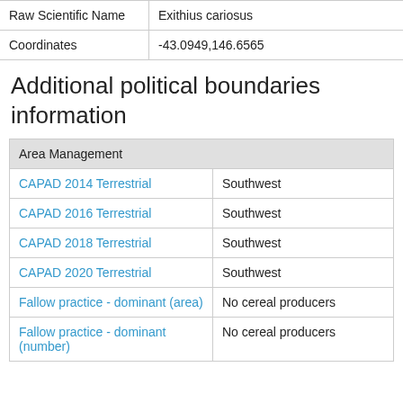|  |  |
| --- | --- |
| Raw Scientific Name | Exithius cariosus |
| Coordinates | -43.0949,146.6565 |
Additional political boundaries information
| Area Management |  |
| --- | --- |
| CAPAD 2014 Terrestrial | Southwest |
| CAPAD 2016 Terrestrial | Southwest |
| CAPAD 2018 Terrestrial | Southwest |
| CAPAD 2020 Terrestrial | Southwest |
| Fallow practice - dominant (area) | No cereal producers |
| Fallow practice - dominant (number) | No cereal producers |